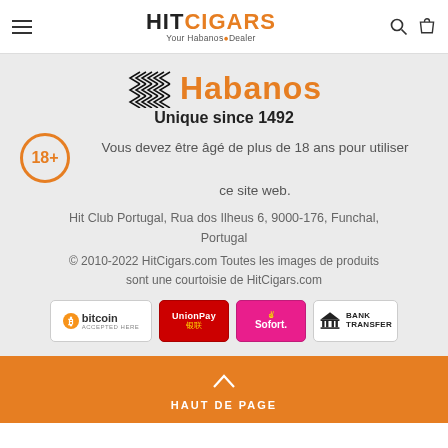HIT CIGARS - Your Habanos Dealer
[Figure (logo): Habanos logo with chevron pattern and tagline Unique since 1492]
Vous devez être âgé de plus de 18 ans pour utiliser ce site web.
Hit Club Portugal, Rua dos Ilheus 6, 9000-176, Funchal, Portugal
© 2010-2022 HitCigars.com Toutes les images de produits sont une courtoisie de HitCigars.com
[Figure (infographic): Payment method logos: Bitcoin accepted here, UnionPay, Sofort, Bank Transfer]
HAUT DE PAGE